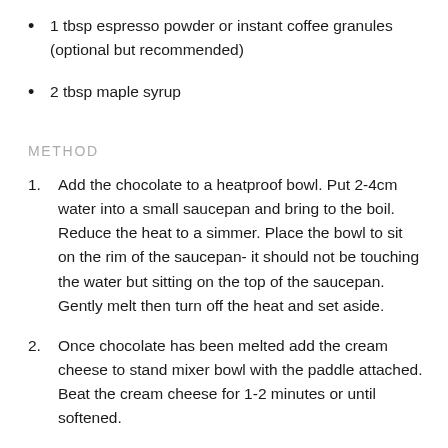1 tbsp espresso powder or instant coffee granules (optional but recommended)
2 tbsp maple syrup
METHOD
1. Add the chocolate to a heatproof bowl. Put 2-4cm water into a small saucepan and bring to the boil. Reduce the heat to a simmer. Place the bowl to sit on the rim of the saucepan- it should not be touching the water but sitting on the top of the saucepan. Gently melt then turn off the heat and set aside.
2. Once chocolate has been melted add the cream cheese to stand mixer bowl with the paddle attached. Beat the cream cheese for 1-2 minutes or until softened.
3. Now add coconut milk, lemon juice, cocoa, espresso